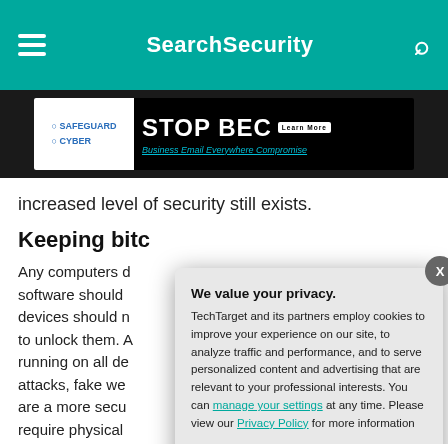SearchSecurity
[Figure (screenshot): Advertisement banner for SafeguardCyber STOP BEC - Business Email Everywhere Compromise]
increased level of security still exists.
Keeping bitc
Any computers d... software should ... devices should n... to unlock them. A... running on all de... attacks, fake we... are a more secu... require physical ... and never expo...
We value your privacy. TechTarget and its partners employ cookies to improve your experience on our site, to analyze traffic and performance, and to serve personalized content and advertising that are relevant to your professional interests. You can manage your settings at any time. Please view our Privacy Policy for more information